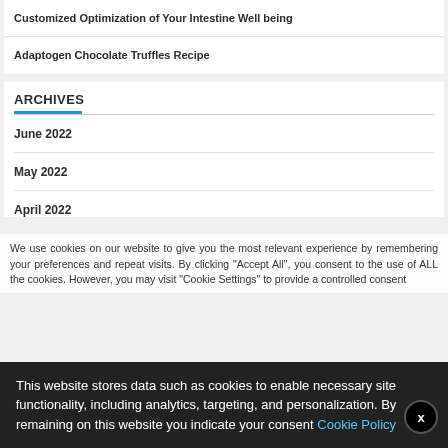Customized Optimization of Your Intestine Well being
Adaptogen Chocolate Truffles Recipe
ARCHIVES
June 2022
May 2022
April 2022
We use cookies on our website to give you the most relevant experience by remembering your preferences and repeat visits. By clicking "Accept All", you consent to the use of ALL the cookies. However, you may visit "Cookie Settings" to provide a controlled consent
This website stores data such as cookies to enable necessary site functionality, including analytics, targeting, and personalization. By remaining on this website you indicate your consent Cookie Policy